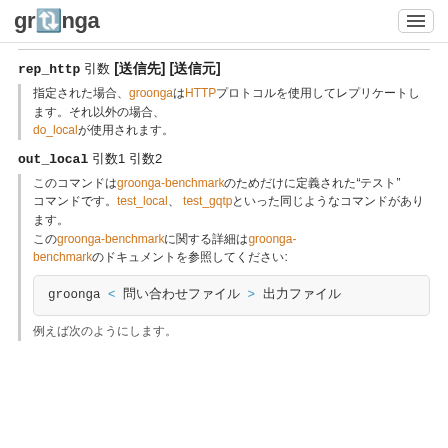groonga [hamburger menu]
rep_http 引数 [送信先] [送信元]
指定された場合、groongaはHTTPプロトコルを使用してレプリケートします。それ以外の場合、do_localが使用されます。
out_local 引数1 引数2
このコマンドはgroonga-benchmarkのためだけに定義された"テスト"コマンドです。test_local、test_gqtpといった同じようなコマンドがあります。このgroonga-benchmarkに関する詳細はgroonga-benchmarkのドキュメントを参照してください:
[Figure (screenshot): Code block showing: groonga < 問い合わせファイル > 出力ファイル]
例えば次のようにします。